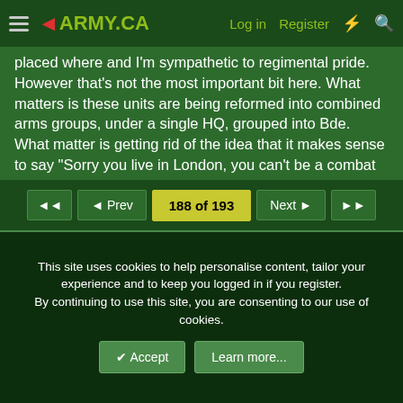ARMY.CA — Log in | Register
placed where and I'm sympathetic to regimental pride. However that's not the most important bit here. What matters is these units are being reformed into combined arms groups, under a single HQ, grouped into Bde. What matter is getting rid of the idea that it makes sense to say "Sorry you live in London, you can't be a combat engineer." I concede that tactical groups are an easier pill to swallow, but from what I've seen they seem to be splitting apart, and are often victims of regimental rivalries with who gets to be CO next. I am aware this is painful, but surely if the British can survive creating the Royal Regiment of Scotland by smashing all their Scots together, or the Rifles by smashing all the light infantry together, we can do the same.
188 of 193  ◄ Prev  Next ►
This site uses cookies to help personalise content, tailor your experience and to keep you logged in if you register.
By continuing to use this site, you are consenting to our use of cookies.